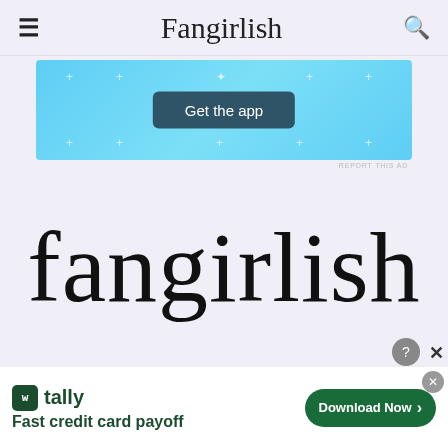Fangirlish
[Figure (screenshot): App promotion banner in light blue with 'Get the app' button]
fangirlish
Advertisements
[Figure (screenshot): Ad box with text 'Professionally' on cream background with infolinks badge]
[Figure (screenshot): Bottom ad banner: tally app - Fast credit card payoff - Download Now button]